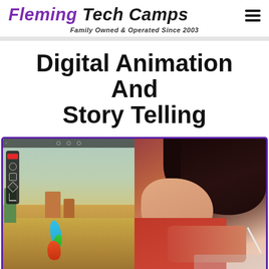Fleming Tech Camps — Family Owned & Operated Since 2003
Digital Animation And Story Telling
[Figure (photo): Split image showing a digital animation app on a tablet with a desert canyon scene being drawn on the left, and a young student drawing with a stylus on a tablet on the right. The image has a purple border.]